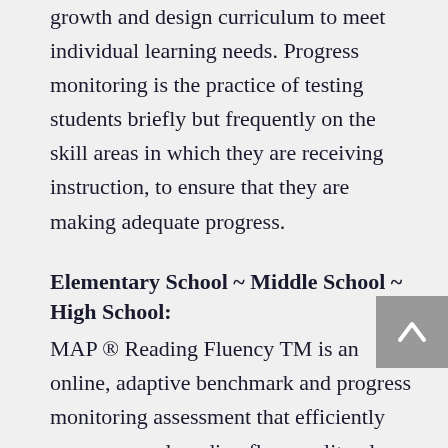growth and design curriculum to meet individual learning needs. Progress monitoring is the practice of testing students briefly but frequently on the skill areas in which they are receiving instruction, to ensure that they are making adequate progress.
Elementary School ~ Middle School ~ High School:
MAP ® Reading Fluency TM is an online, adaptive benchmark and progress monitoring assessment that efficiently measures oral reading fluency, literal comprehension, and foundational skills—for both English and Spanish speakers. It